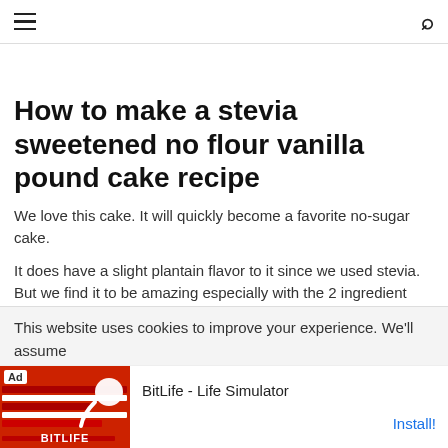[hamburger menu] [search icon]
How to make a stevia sweetened no flour vanilla pound cake recipe
We love this cake. It will quickly become a favorite no-sugar cake.
It does have a slight plantain flavor to it since we used stevia. But we find it to be amazing especially with the 2 ingredient coconut butter frosting on top and of course... sprinkles!!
This website uses cookies to improve your experience. We'll assume
you're... cept
[Figure (screenshot): Mobile advertisement banner for BitLife - Life Simulator app with red background and Ad label]